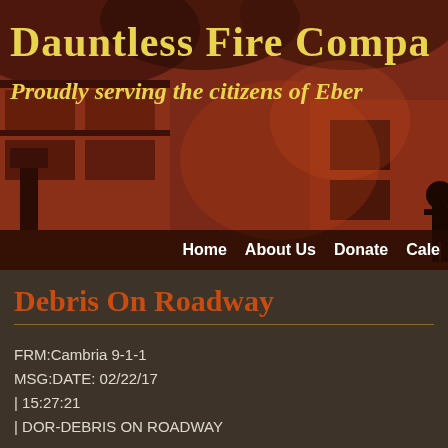[Figure (photo): Sepia-toned photo of a building fire with smoke billowing and a firefighter silhouetted in the foreground]
Dauntless Fire Compa...
Proudly serving the citizens of Eber...
Home   About Us   Donate   Cale...
Debris On Roadway
FRM:Cambria 9-1-1
MSG:DATE: 02/22/17
| 15:27:21
| DOR-DEBRIS ON ROADWAY